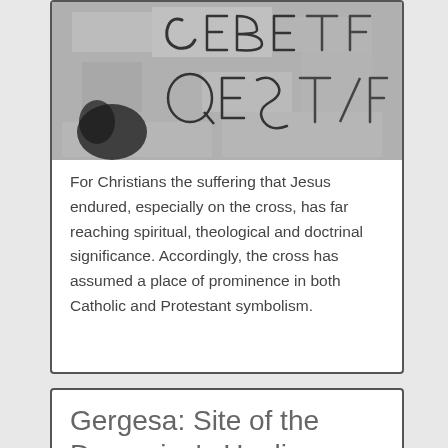[Figure (photo): Black and white photo of graffiti or scratched letters on a rough stone/concrete surface. Letters appear to spell out something in a rough handwritten style.]
For Christians the suffering that Jesus endured, especially on the cross, has far reaching spiritual, theological and doctrinal significance. Accordingly, the cross has assumed a place of prominence in both Catholic and Protestant symbolism.
Gergesa: Site of the Demoniac's Healing